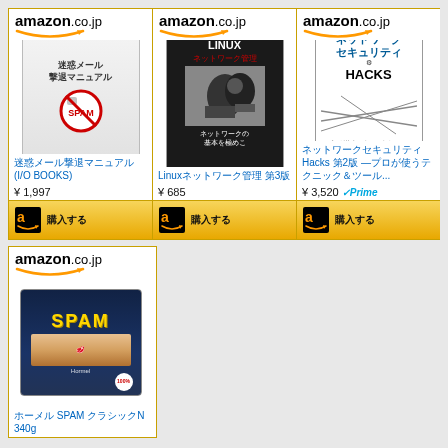[Figure (screenshot): Amazon.co.jp product listing grid showing 4 book/product cards: 1) Japanese spam email manual book (迷惑メール撃退マニュアル), ¥1,997; 2) Linux network management book 3rd edition, ¥685; 3) Network Security Hacks 2nd edition, ¥3,520 with Prime; 4) SPAM canned food 340g]
迷惑メール撃退マニュアル (I/O BOOKS)
¥ 1,997
Linuxネットワーク管理 第3版
¥ 685
ネットワークセキュリティHacks 第2版 —プロが使うテクニック＆ツール...
¥ 3,520
ホーメル SPAM クラシックN 340g